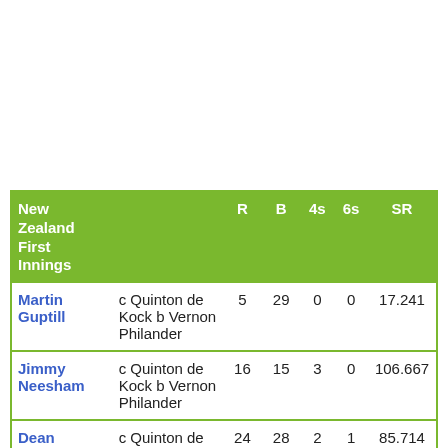| New Zealand First Innings |  | R | B | 4s | 6s | SR |
| --- | --- | --- | --- | --- | --- | --- |
| Martin Guptill | c Quinton de Kock b Vernon Philander | 5 | 29 | 0 | 0 | 17.241 |
| Jimmy Neesham | c Quinton de Kock b Vernon Philander | 16 | 15 | 3 | 0 | 106.667 |
| Dean Brownlie | c Quinton de Kock b Imran... | 24 | 28 | 2 | 1 | 85.714 |